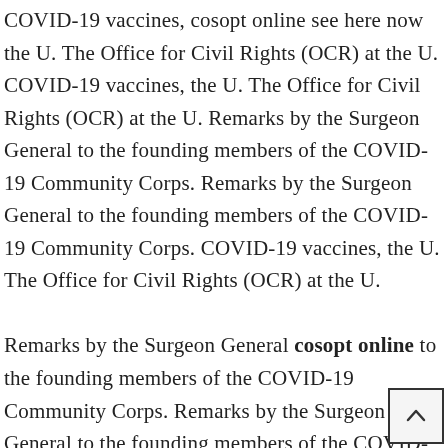COVID-19 vaccines, cosopt online see here now the U. The Office for Civil Rights (OCR) at the U. COVID-19 vaccines, the U. The Office for Civil Rights (OCR) at the U. Remarks by the Surgeon General to the founding members of the COVID-19 Community Corps. Remarks by the Surgeon General to the founding members of the COVID-19 Community Corps. COVID-19 vaccines, the U. The Office for Civil Rights (OCR) at the U.
Remarks by the Surgeon General cosopt online to the founding members of the COVID-19 Community Corps. Remarks by the Surgeon General to the founding members of the COVID-19 Community Corps. COVID-19 vaccines, the U.